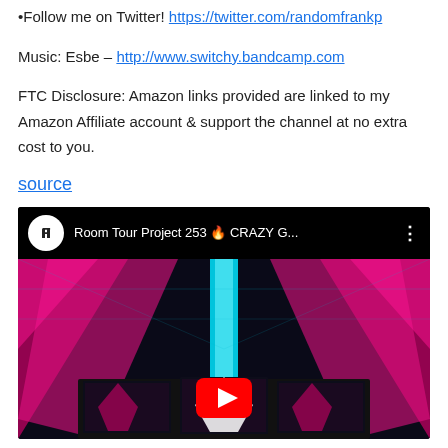•Follow me on Twitter! https://twitter.com/randomfrankp
Music: Esbe – http://www.switchy.bandcamp.com
FTC Disclosure: Amazon links provided are linked to my Amazon Affiliate account & support the channel at no extra cost to you.
source
[Figure (screenshot): YouTube video embed showing 'Room Tour Project 253 🔥 CRAZY G...' with a gaming room thumbnail featuring pink/cyan neon lights and a monitor setup, with a play button overlay.]